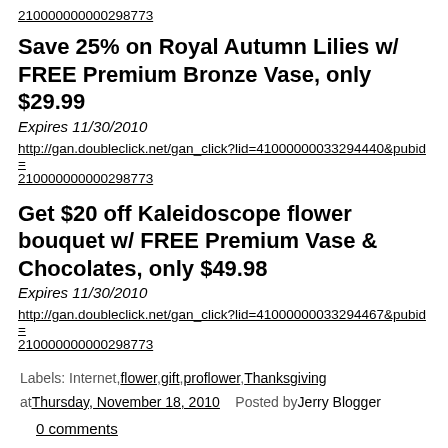210000000000298773
Save 25% on Royal Autumn Lilies w/ FREE Premium Bronze Vase, only $29.99
Expires 11/30/2010
http://gan.doubleclick.net/gan_click?lid=41000000033294440&pubid=210000000000298773
Get $20 off Kaleidoscope flower bouquet w/ FREE Premium Vase & Chocolates, only $49.98
Expires 11/30/2010
http://gan.doubleclick.net/gan_click?lid=41000000033294467&pubid=210000000000298773
Labels: Internet, flower, gift, proflower, Thanksgiving
at Thursday, November 18, 2010  Posted by Jerry Blogger
0 comments